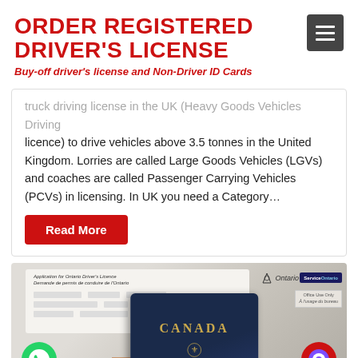ORDER REGISTERED DRIVER'S LICENSE
Buy-off driver's license and Non-Driver ID Cards
truck driving license in the UK (Heavy Goods Vehicles Driving licence) to drive vehicles above 3.5 tonnes in the United Kingdom. Lorries are called Large Goods Vehicles (LGVs) and coaches are called Passenger Carrying Vehicles (PCVs) in licensing. In UK you need a Category…
Read More
[Figure (photo): A hand holding a Canadian passport in front of an Ontario ServiceOntario driver's license form]